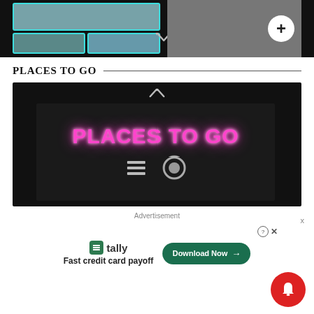[Figure (screenshot): Top image strip showing video thumbnails with cyan borders on left and a dark background image on the right with a white plus button circle]
PLACES TO GO
[Figure (screenshot): Video player with black background showing 'PLACES TO GO' in pink neon text, with a chevron up arrow at top, and icons at bottom including hamburger menu and circle]
Advertisement
[Figure (infographic): Tally advertisement: Tally logo with green icon, text 'Fast credit card payoff', and a green 'Download Now' button with arrow. Question mark and X close icons at top right. Red notification bell icon at bottom right.]